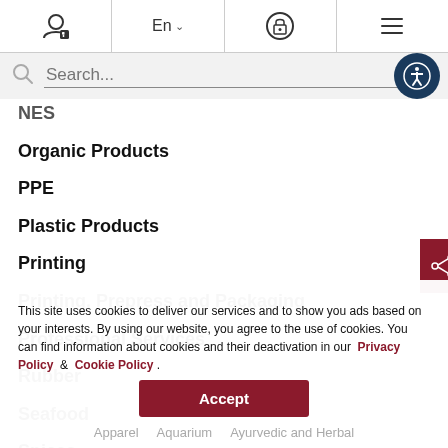[Figure (screenshot): Website navigation header with user/lock icon, language selector (En), padlock icon, and hamburger menu]
[Figure (screenshot): Search bar with magnifying glass icon and accessibility button]
NES
Organic Products
PPE
Plastic Products
Printing
Printing, Prepress and Packaging
Professional Services
Rubber
Seafood
Spices
Wellness Tourism
Wooden Products
This site uses cookies to deliver our services and to show you ads based on your interests. By using our website, you agree to the use of cookies. You can find information about cookies and their deactivation in our Privacy Policy & Cookie Policy .
Accept
Apparel   Aquarium   Ayurvedic and Herbal